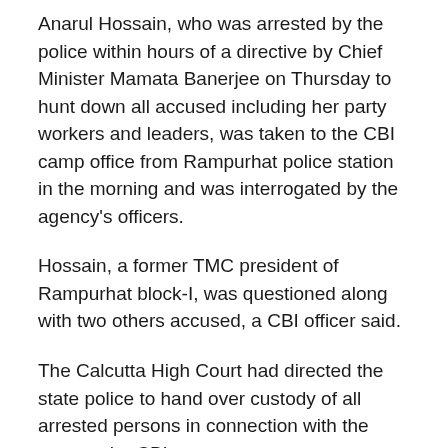Anarul Hossain, who was arrested by the police within hours of a directive by Chief Minister Mamata Banerjee on Thursday to hunt down all accused including her party workers and leaders, was taken to the CBI camp office from Rampurhat police station in the morning and was interrogated by the agency's officers.
Hossain, a former TMC president of Rampurhat block-I, was questioned along with two others accused, a CBI officer said.
The Calcutta High Court had directed the state police to hand over custody of all arrested persons in connection with the case to the CBI.
Another team of CBI officials visited the Rampurhat hospital on Sunday and recorded the statement of the four injured persons.